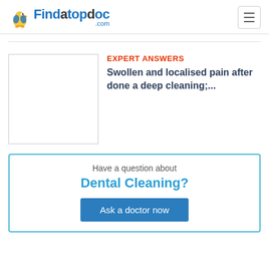Findatopdoc.com
[Figure (logo): Findatopdoc.com logo with duck mascot and hamburger menu icon]
EXPERT ANSWERS
Swollen and localised pain after done a deep cleaning;...
Have a question about
Dental Cleaning?
Ask a doctor now